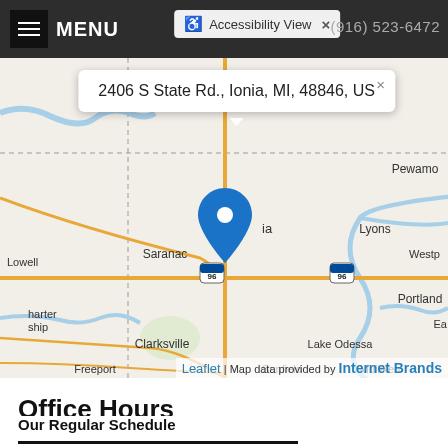MENU   Accessibility View   (916) 523-6472
[Figure (map): Street map showing location at 2406 S State Rd., Ionia, MI, 48846, US with a blue map pin marker. Map shows surrounding area including Saranac, Clarksville, Lake Odessa, Freeport, Portland, Pewamo, Lyons, and other towns. Interstate 96 is visible. Map data provided by Internet Brands via Leaflet.]
Office Hours
Our Regular Schedule